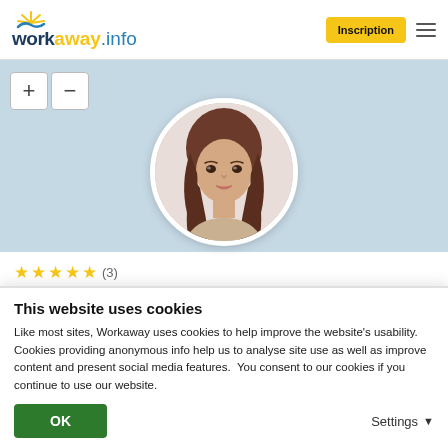[Figure (logo): workaway.info logo with sun icon, yellow 'away' text, blue 'work' and '.info' text]
Inscription
[Figure (other): Map zoom controls: + and - buttons]
[Figure (photo): Circular profile photo of a young woman with long brown hair against light background]
★★★★★ (3)
Marina
This website uses cookies
Like most sites, Workaway uses cookies to help improve the website's usability. Cookies providing anonymous info help us to analyse site use as well as improve content and present social media features.  You consent to our cookies if you continue to use our website.
OK
Settings